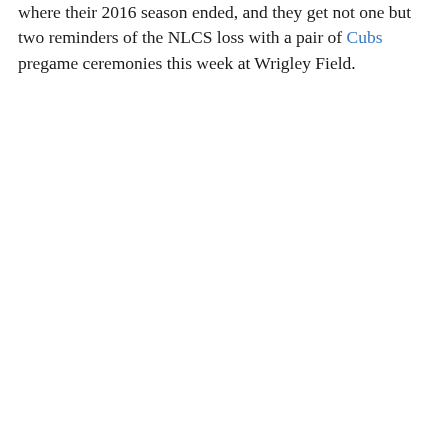where their 2016 season ended, and they get not one but two reminders of the NLCS loss with a pair of Cubs pregame ceremonies this week at Wrigley Field.